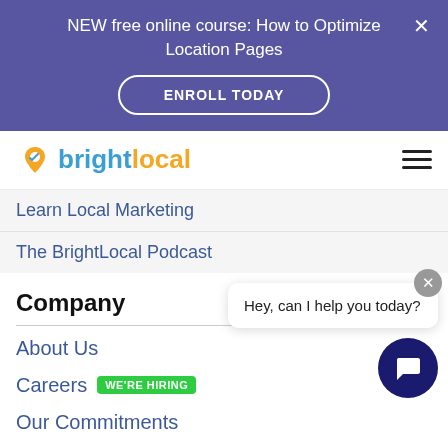NEW free online course: How to Optimize Location Pages
ENROLL TODAY
[Figure (logo): BrightLocal logo with map pin icon]
Learn Local Marketing
The BrightLocal Podcast
Company
About Us
Careers WE'RE HIRING
Our Commitments
Contact Us
Case Studies
Hey, can I help you today?